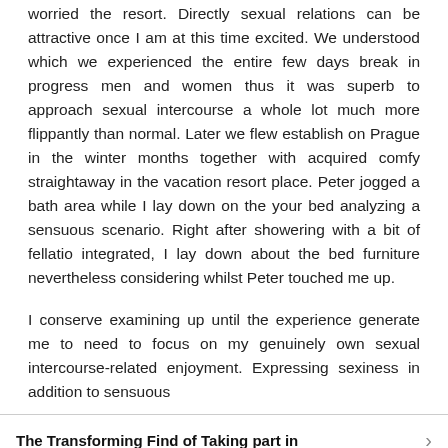worried the resort. Directly sexual relations can be attractive once I am at this time excited. We understood which we experienced the entire few days break in progress men and women thus it was superb to approach sexual intercourse a whole lot much more flippantly than normal. Later we flew establish on Prague in the winter months together with acquired comfy straightaway in the vacation resort place. Peter jogged a bath area while I lay down on the your bed analyzing a sensuous scenario. Right after showering with a bit of fellatio integrated, I lay down about the bed furniture nevertheless considering whilst Peter touched me up.

I conserve examining up until the experience generate me to need to focus on my genuinely own sexual intercourse-related enjoyment. Expressing sexiness in addition to sensuous
The Transforming Find of Taking part in
Analyzing the Escort Services for the single men and wo...